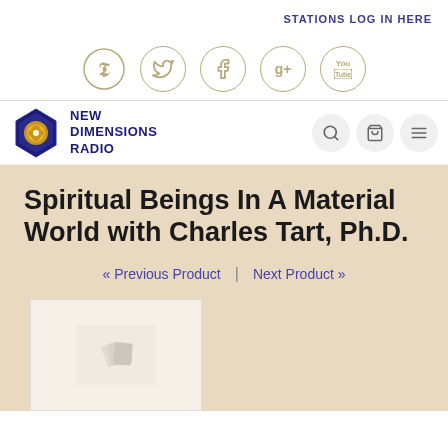STATIONS LOG IN HERE
[Figure (logo): Social media icons: Twitter, Facebook, Google+, YouTube — each in a circular gold border]
[Figure (logo): New Dimensions Radio logo — hexagonal emblem with sun/tree motif in blue and gold, next to bold text NEW DIMENSIONS RADIO]
Spiritual Beings In A Material World with Charles Tart, Ph.D.
« Previous Product  |  Next Product »
[Figure (photo): Product image loading placeholder with spinner]